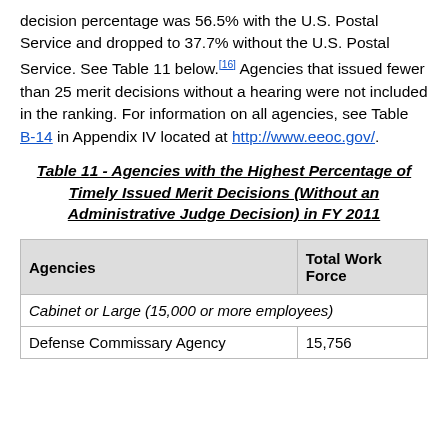decision percentage was 56.5% with the U.S. Postal Service and dropped to 37.7% without the U.S. Postal Service. See Table 11 below.[16] Agencies that issued fewer than 25 merit decisions without a hearing were not included in the ranking. For information on all agencies, see Table B-14 in Appendix IV located at http://www.eeoc.gov/.
Table 11 - Agencies with the Highest Percentage of Timely Issued Merit Decisions (Without an Administrative Judge Decision) in FY 2011
| Agencies | Total Work Force |
| --- | --- |
| Cabinet or Large (15,000 or more employees) |  |
| Defense Commissary Agency | 15,756 |